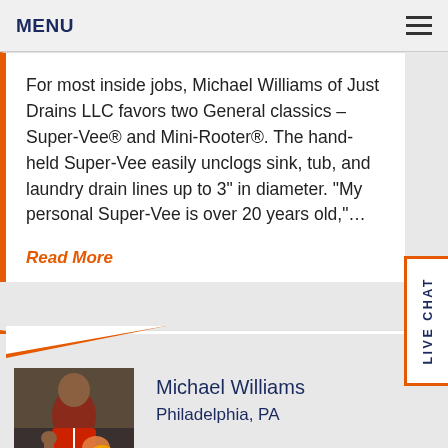MENU
For most inside jobs, Michael Williams of Just Drains LLC favors two General classics – Super-Vee® and Mini-Rooter®. The hand-held Super-Vee easily unclogs sink, tub, and laundry drain lines up to 3" in diameter. "My personal Super-Vee is over 20 years old,"…
Read More
[Figure (photo): Profile photo of Michael Williams, a man in a red shirt holding a helmet, giving thumbs up]
Michael Williams
Philadelphia, PA